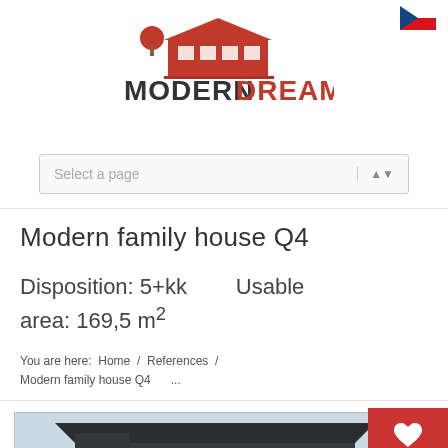[Figure (logo): ModernDream logo with house icon in red/orange and dark text MODERN DREAM]
Select a page
Modern family house Q4
Disposition: 5+kk        Usable area: 169,5 m²
You are here:  Home  /  References  /  Modern family house Q4      ...
[Figure (photo): Exterior render of a modern family house (Q4) — dark angular architecture with large windows, trees in background, overcast sky]